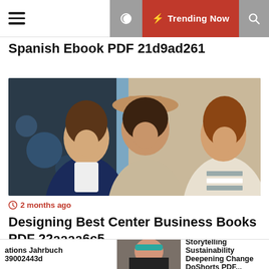☰  🌙  ⚡ Trending Now  🔍
Spanish Ebook PDF 21d9ad261
[Figure (photo): Three young women smiling and laughing outdoors, walking together]
⏱ 2 months ago
Designing Best Center Business Books PDF 22aaaa6c5
[Figure (photo): Partially visible bottom strip image - person with teal headband]
ations Jahrbuch 39002443d  |  Storytelling Sustainability Deepening Change DoShorts PDF...